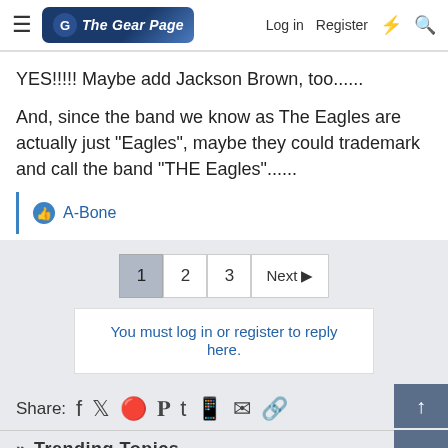The Gear Page — Log in | Register
YES!!!!! Maybe add Jackson Brown, too......
And, since the band we know as The Eagles are actually just "Eagles", maybe they could trademark and call the band "THE Eagles"......
A-Bone
1 2 3 Next
You must log in or register to reply here.
Share:
» Trending Topics
Gibson polish bad for Fender...?